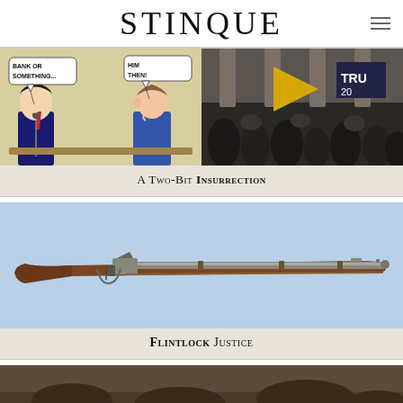STINQUE
[Figure (illustration): Left half: black and white cartoon of two men whispering, with speech bubbles reading 'BANK OR SOMETHING...' and 'HIM THEN!'. Right half: photo of a crowd of people with Trump flags storming/rallying at what appears to be the US Capitol.]
A Two-Bit INSURRECTION
[Figure (photo): Photo of an antique flintlock musket/rifle displayed horizontally against a light blue background.]
FLINTLOCK JUSTICE
[Figure (photo): Partial photo visible at the bottom of the page, appears to show a crowd or gathering, brown/earth tones.]